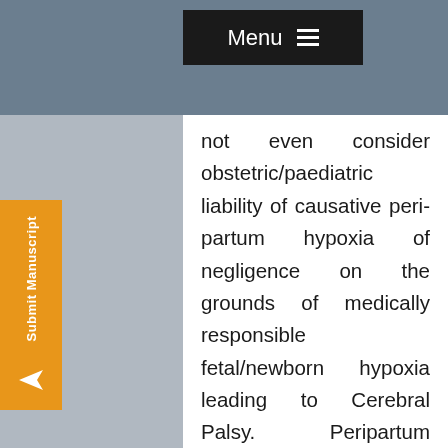artum fetal hypoxia. Without proven NHE, modern jurisprudence should
not even consider obstetric/paediatric liability of causative peri-partum hypoxia of negligence on the grounds of medically responsible fetal/newborn hypoxia leading to Cerebral Palsy. Peripartum hypoxia, which comprises intra-partum hypoxia may result in damage which may with varying degrees of time manifest itself with epilepsy, neuro-developmental delay, cognitive impairment or Cerebral Palsy and the full damage may not be completely assessable before 3-4 years of age. Court cases alleging obstetric/ neonatologist liability may not commence for a number